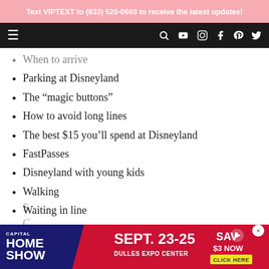Text VIPTEXT to (833) 520-0668 to receive the latest updates!
When to arrive
Parking at Disneyland
The “magic buttons”
How to avoid long lines
The best $15 you’ll spend at Disneyland
FastPasses
Disneyland with young kids
Walking
Waiting in line
Keeping kids entertained while waiting
Keeping kids from getting lost
Riding Rides
[Figure (screenshot): Capital Home Show advertisement: SEPT. 23-25, DULLES EXPO CENTER, SAV $3 NOW, CLICK HERE]